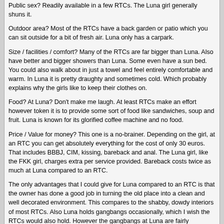Public sex? Readily available in a few RTCs. The Luna girl generally shuns it.

Outdoor area? Most of the RTCs have a back garden or patio which you can sit outside for a bit of fresh air. Luna only has a carpark.

Size / facilities / comfort? Many of the RTCs are far bigger than Luna. Also have better and bigger showers than Luna. Some even have a sun bed. You could also walk about in just a towel and feel entirely comfortable and warm. In Luna it is pretty draughty and sometimes cold. Which probably explains why the girls like to keep their clothes on.

Food? At Luna? Don't make me laugh. At least RTCs make an effort however token it is to provide some sort of food like sandwiches, soup and fruit. Luna is known for its glorified coffee machine and no food.

Price / Value for money? This one is a no-brainer. Depending on the girl, at an RTC you can get absolutely everything for the cost of only 30 euros. That includes BBBJ, CIM, kissing, bareback and anal. The Luna girl, like the FKK girl, charges extra per service provided. Bareback costs twice as much at Luna compared to an RTC.

The only advantages that I could give for Luna compared to an RTC is that the owner has done a good job in turning the old place into a clean and well decorated environment. This compares to the shabby, dowdy interiors of most RTCs. Also Luna holds gangbangs occasionally, which I wish the RTCs would also hold. However the gangbangs at Luna are fairly infrequent at 2 or 3 months apart, only last 3 hours and have been renowned for being ludicrously overcrowded.
Optimist	04-14-16, 08:59

Myrrh. When I mentioned FKK, I meant the likes of Artemis, Oase.

As for your comparison with rtc, I think you've summarised it extremely well, although you are rather hard on Kathi, who is still doing top rate work.